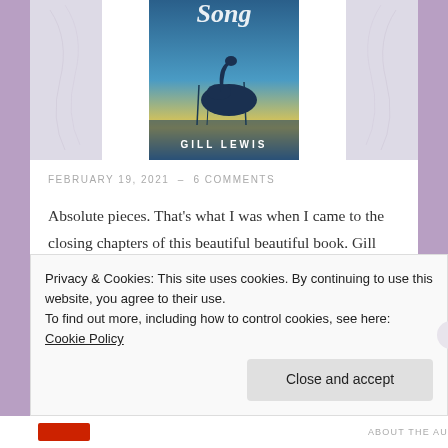[Figure (illustration): Book cover for a children's novel by Gill Lewis featuring a silhouette of a swan/bird on a blue watercolor background with the word 'Song' partially visible at top, and feather/cloud imagery on the left and right sides]
FEBRUARY 19, 2021  –  6 COMMENTS
Absolute pieces. That's what I was when I came to the closing chapters of this beautiful beautiful book. Gill has tugged my heartstrings before with social issues but it is with animal conservation stories that she has an absolute gift with her classics such as Run Wild and
Privacy & Cookies: This site uses cookies. By continuing to use this website, you agree to their use.
To find out more, including how to control cookies, see here: Cookie Policy
Close and accept